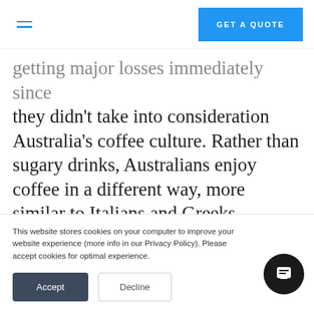GET A QUOTE
getting major losses immediately since they didn't take into consideration Australia's coffee culture. Rather than sugary drinks, Australians enjoy coffee in a different way, more similar to Italians and Greeks, preferring
This website stores cookies on your computer to improve your website experience (more info in our Privacy Policy). Please accept cookies for optimal experience.